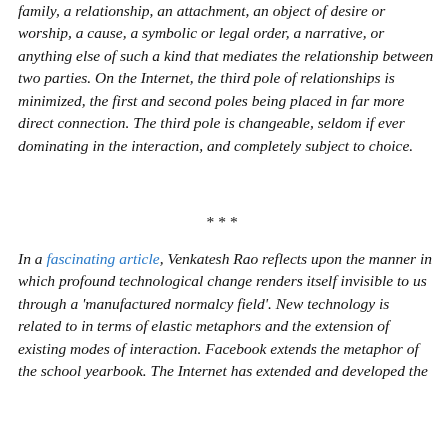family, a relationship, an attachment, an object of desire or worship, a cause, a symbolic or legal order, a narrative, or anything else of such a kind that mediates the relationship between two parties. On the Internet, the third pole of relationships is minimized, the first and second poles being placed in far more direct connection. The third pole is changeable, seldom if ever dominating in the interaction, and completely subject to choice.
***
In a fascinating article, Venkatesh Rao reflects upon the manner in which profound technological change renders itself invisible to us through a 'manufactured normalcy field'. New technology is related to in terms of elastic metaphors and the extension of existing modes of interaction. Facebook extends the metaphor of the school yearbook. The Internet has extended and developed the